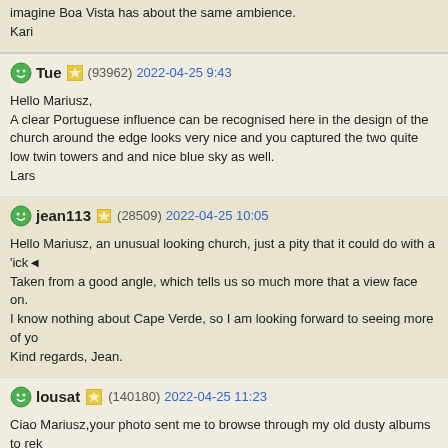imagine Boa Vista has about the same ambience.
Kari
Tue (93962) 2022-04-25 9:43
Hello Mariusz,
A clear Portuguese influence can be recognised here in the design of the church around the edge looks very nice and you captured the two quite low twin towers and and nice blue sky as well.
Lars
jean113 (28509) 2022-04-25 10:05
Hello Mariusz, an unusual looking church, just a pity that it could do with a lick of paint!
Taken from a good angle, which tells us so much more that a view face on.
I know nothing about Cape Verde, so I am looking forward to seeing more of your series.
Kind regards, Jean.
lousat (140180) 2022-04-25 11:23
Ciao Mariusz,your photo sent me to browse through my old dusty albums to rekindle this photo of the church of Sal Rei, the colors have changed and so has the building. WS while I was there, I swear that I will not do others also because the quality is bad, me back one of the few architectural attractions of Boavista. Have a nice evening